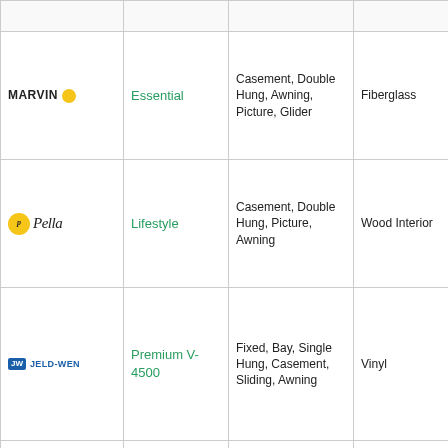| Brand | Series | Window Types | Material | Installation |
| --- | --- | --- | --- | --- |
| MARVIN | Essential | Casement, Double Hung, Awning, Picture, Glider | Fiberglass | New |
| Pella | Lifestyle | Casement, Double Hung, Picture, Awning | Wood Interior | New |
| JELD-WEN | Premium V-4500 | Fixed, Bay, Single Hung, Casement, Sliding, Awning | Vinyl | New, Replace |
| MARVIN | Elevate | Casement, Double... | Wood Interior | New |